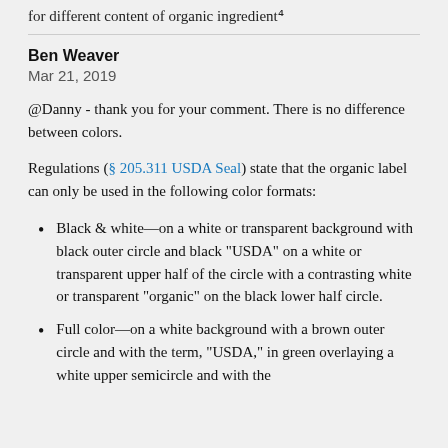for different content of organic ingredient⁴
Ben Weaver
Mar 21, 2019
@Danny - thank you for your comment. There is no difference between colors.
Regulations (§ 205.311 USDA Seal) state that the organic label can only be used in the following color formats:
Black & white—on a white or transparent background with black outer circle and black "USDA" on a white or transparent upper half of the circle with a contrasting white or transparent "organic" on the black lower half circle.
Full color—on a white background with a brown outer circle and with the term, "USDA," in green overlaying a white upper semicircle and with the